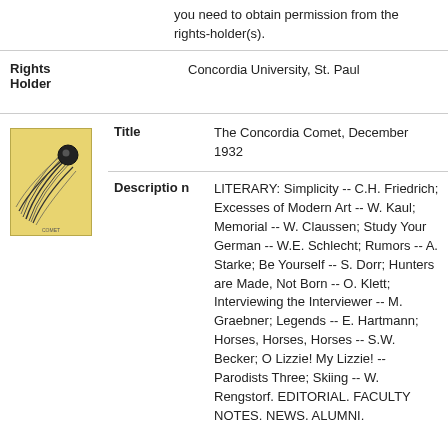you need to obtain permission from the rights-holder(s).
| Field | Value |
| --- | --- |
| Rights Holder | Concordia University, St. Paul |
| Title | The Concordia Comet, December 1932 |
| Description | LITERARY: Simplicity -- C.H. Friedrich; Excesses of Modern Art -- W. Kaul; Memorial -- W. Claussen; Study Your German -- W.E. Schlecht; Rumors -- A. Starke; Be Yourself -- S. Dorr; Hunters are Made, Not Born -- O. Klett; Interviewing the Interviewer -- M. Graebner; Legends -- E. Hartmann; Horses, Horses, Horses -- S.W. Becker; O Lizzie! My Lizzie! -- Parodists Three; Skiing -- W. Rengstorf. EDITORIAL. FACULTY NOTES. NEWS. ALUMNI. |
[Figure (illustration): Thumbnail image of The Concordia Comet publication cover, showing a stylized comet illustration on a yellow-beige background]